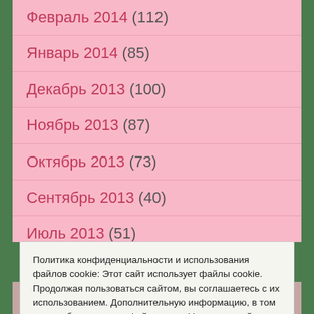Февраль 2014 (112)
Январь 2014 (85)
Декабрь 2013 (100)
Ноябрь 2013 (87)
Октябрь 2013 (73)
Сентябрь 2013 (40)
Июль 2013 (51)
Политика конфиденциальности и использования файлов cookie: Этот сайт использует файлы cookie. Продолжая пользоваться сайтом, вы соглашаетесь с их использованием. Дополнительную информацию, в том числе об управлении файлами cookie, можно найти здесь: Политика использования файлов cookie
Принять и закрыть
Февраль 2013 (171)